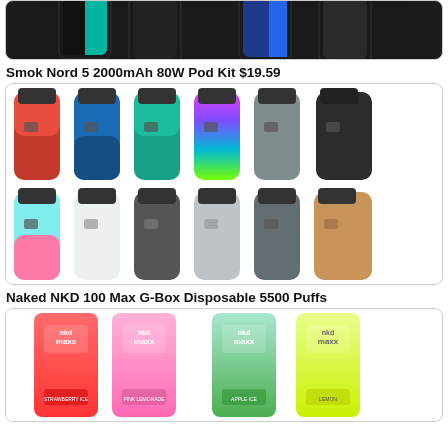[Figure (photo): Partial top view of vape mod devices in various colors on dark background]
Smok Nord 5 2000mAh 80W Pod Kit $19.59
[Figure (photo): Grid of 12 Smok Nord 5 pod kit devices in various colors including red, blue, teal, rainbow, marble, black carbon fiber, peach/teal, white, black, silver, gray, and wood grain]
Naked NKD 100 Max G-Box Disposable 5500 Puffs
[Figure (photo): Four NKD 100 Maxx disposable vape devices: strawberry (red), pink lemonade (pink), apple (green), and lemon (yellow-green)]